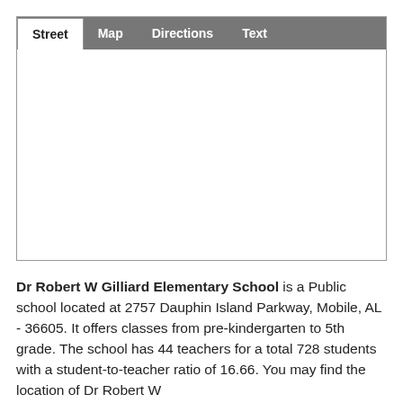[Figure (screenshot): A map widget with tabs: Street (active/white), Map, Directions, Text — all on a grey tab bar. The map area below the tabs is blank/white, representing a street view placeholder.]
Dr Robert W Gilliard Elementary School is a Public school located at 2757 Dauphin Island Parkway, Mobile, AL - 36605. It offers classes from pre-kindergarten to 5th grade. The school has 44 teachers for a total 728 students with a student-to-teacher ratio of 16.66. You may find the location of Dr Robert W